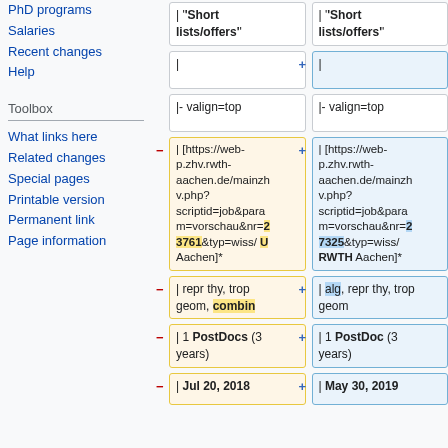PhD programs
Salaries
Recent changes
Help
Toolbox
What links here
Related changes
Special pages
Printable version
Permanent link
Page information
| '"Short lists/offers'"
| '"Short lists/offers'"
|
|
|- valign=top
|- valign=top
| [https://web-p.zhv.rwth-aachen.de/mainzhv.php?scriptid=job&param=vorschau&nr=23761&typ=wiss/ U Aachen]*
| [https://web-p.zhv.rwth-aachen.de/mainzhv.php?scriptid=job&param=vorschau&nr=27325&typ=wiss/ RWTH Aachen]*
| repr thy, trop geom, combin
| alg, repr thy, trop geom
| 1 PostDocs (3 years)
| 1 PostDoc (3 years)
| Jul 20, 2018
| May 30, 2019